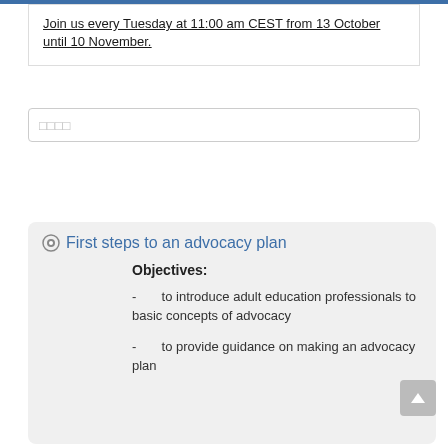Join us every Tuesday at 11:00 am CEST from 13 October until 10 November.
[Figure (screenshot): Search input field with placeholder text and a blue search/submit button]
First steps to an advocacy plan
Objectives:
- to introduce adult education professionals to basic concepts of advocacy
- to provide guidance on making an advocacy plan